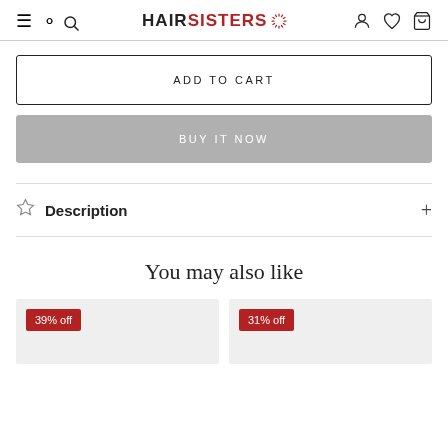HAIR SISTERS
ADD TO CART
BUY IT NOW
Description
You may also like
39% off
31% off